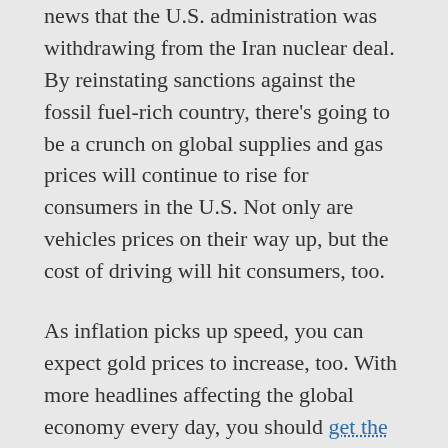news that the U.S. administration was withdrawing from the Iran nuclear deal. By reinstating sanctions against the fossil fuel-rich country, there's going to be a crunch on global supplies and gas prices will continue to rise for consumers in the U.S. Not only are vehicles prices on their way up, but the cost of driving will hit consumers, too.
As inflation picks up speed, you can expect gold prices to increase, too. With more headlines affecting the global economy every day, you should get the live price of precious metals like gold and silver before increasing your position. Gold is the market's preferred hedge against inflation. In the long term, gold beats inflation. When you want an asset that's safe, and an asset the value of which won't erode over time, you buy gold.
The gold market has been content to watch the value of gold...